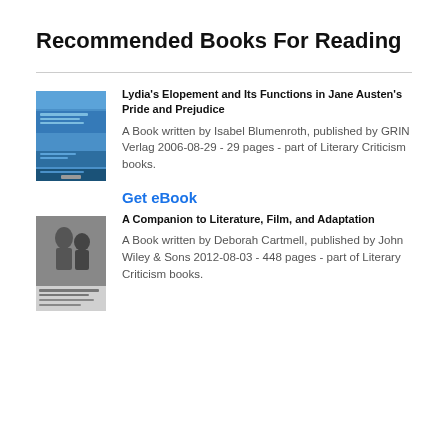Recommended Books For Reading
[Figure (illustration): Book cover for Lydia's Elopement and Its Functions in Jane Austen's Pride and Prejudice - blue cover with horizontal bands]
Lydia's Elopement and Its Functions in Jane Austen's Pride and Prejudice
A Book written by Isabel Blumenroth, published by GRIN Verlag 2006-08-29 - 29 pages - part of Literary Criticism books.
Get eBook
[Figure (illustration): Book cover for A Companion to Literature, Film, and Adaptation - dark cover with people]
A Companion to Literature, Film, and Adaptation
A Book written by Deborah Cartmell, published by John Wiley & Sons 2012-08-03 - 448 pages - part of Literary Criticism books.